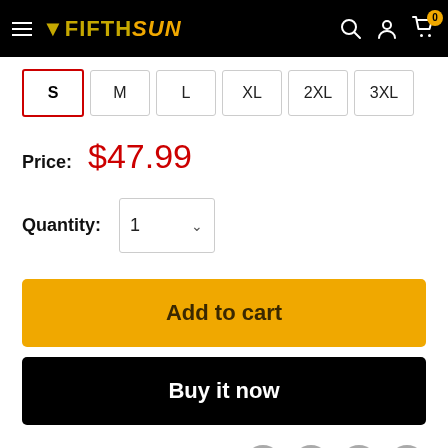Fifth Sun navigation bar with logo, search, account, and cart icons
Size options: S (selected), M, L, XL, 2XL, 3XL
Price: $47.99
Quantity: 1
Add to cart
Buy it now
Share this product